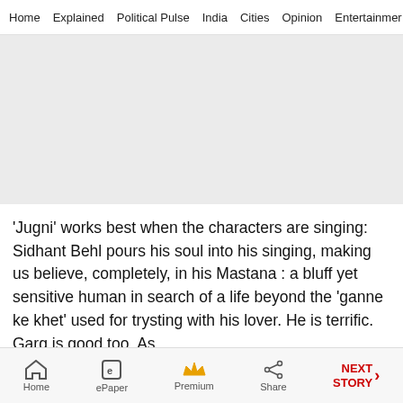Home  Explained  Political Pulse  India  Cities  Opinion  Entertainment
[Figure (other): Advertisement placeholder block, light grey background]
'Jugni' works best when the characters are singing: Sidhant Behl pours his soul into his singing, making us believe, completely, in his Mastana : a bluff yet sensitive human in search of a life beyond the 'ganne ke khet' used for trysting with his lover. He is terrific. Garg is good too. As
Home  ePaper  Premium  Share  NEXT STORY